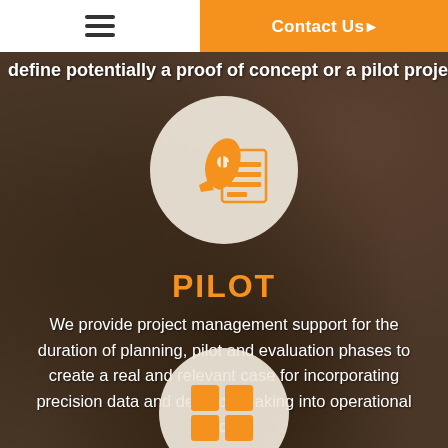Contact Us
define potentially a proof of concept or a pilot project
[Figure (illustration): Orange rocket and document/list icon inside a circular beige background]
PILOT
We provide project management support for the duration of planning, pilot and evaluation phases to create a real and relevant case for incorporating precision data and decision making into operational process
[Figure (illustration): Orange grid/dashboard icon inside a circular beige background, partially visible at bottom]